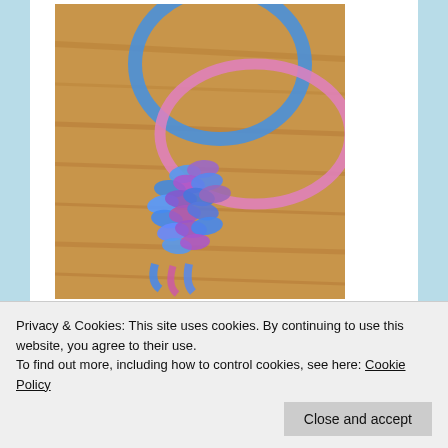[Figure (photo): Close-up photo of blue and pink rubber band / loom band jewelry piece (keychain charm) on a wooden surface. Blue circular ring with a woven cluster of blue and pink translucent rubber bands.]
Back up your site
Privacy & Cookies: This site uses cookies. By continuing to use this website, you agree to their use.
To find out more, including how to control cookies, see here: Cookie Policy
Close and accept